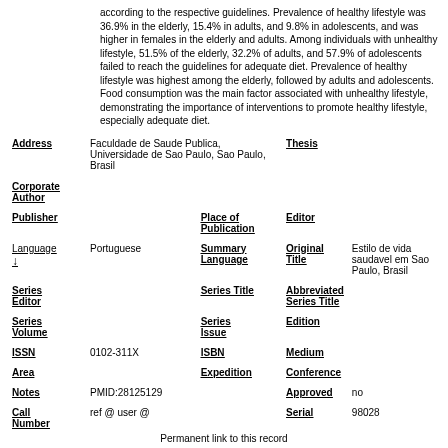according to the respective guidelines. Prevalence of healthy lifestyle was 36.9% in the elderly, 15.4% in adults, and 9.8% in adolescents, and was higher in females in the elderly and adults. Among individuals with unhealthy lifestyle, 51.5% of the elderly, 32.2% of adults, and 57.9% of adolescents failed to reach the guidelines for adequate diet. Prevalence of healthy lifestyle was highest among the elderly, followed by adults and adolescents. Food consumption was the main factor associated with unhealthy lifestyle, demonstrating the importance of interventions to promote healthy lifestyle, especially adequate diet.
| Address | Faculdade de Saude Publica, Universidade de Sao Paulo, Sao Paulo, Brasil |  | Thesis |  |
| Corporate Author |  |  |  |  |
| Publisher |  | Place of Publication | Editor |  |
| Language ↓ | Portuguese | Summary Language | Original Title | Estilo de vida saudavel em Sao Paulo, Brasil |
| Series Editor |  | Series Title | Abbreviated Series Title |  |
| Series Volume |  | Series Issue | Edition |  |
| ISSN | 0102-311X | ISBN | Medium |  |
| Area |  | Expedition | Conference |  |
| Notes | PMID:28125129 |  | Approved | no |
| Call Number | ref @ user @ |  | Serial | 98028 |
Permanent link to this record